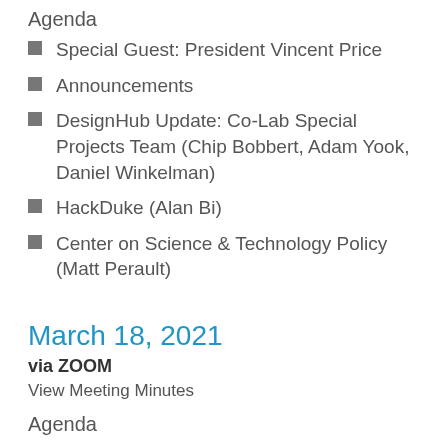Agenda
Special Guest: President Vincent Price
Announcements
DesignHub Update: Co-Lab Special Projects Team (Chip Bobbert, Adam Yook, Daniel Winkelman)
HackDuke (Alan Bi)
Center on Science & Technology Policy (Matt Perault)
March 18, 2021
via ZOOM
View Meeting Minutes
Agenda